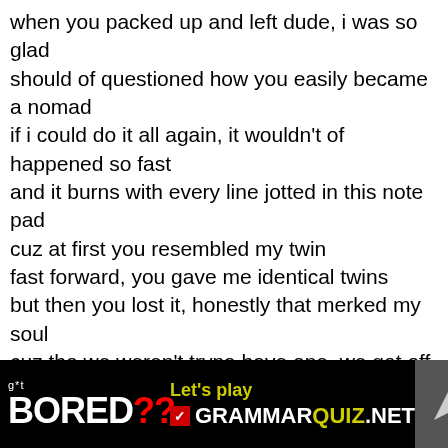when you packed up and left dude, i was so glad
should of questioned how you easily became a nomad
if i could do it all again, it wouldn't of happened so fast
and it burns with every line jotted in this note pad
cuz at first you resembled my twin
fast forward, you gave me identical twins
but then you lost it, honestly that merked my soul
cuz tho we weren't tryna have one, we got off the birth control
and we was right back at it, f-ckin like addicts
while you was disruptin' what was seemin like a marriage
you never got embarr-ssed, interrogatin' me but that was just yaris
yeah we beefin' i dragged you off the bed
i swear to this day i re-enacted in my head
[Figure (infographic): Black banner advertisement: 'g*t BORED?? Let's play GRAMMARQUIZ.NET' with a photo of a person on the right and an arrow icon]